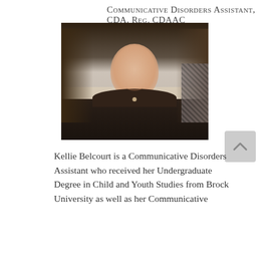Communicative Disorders Assistant, CDA, Reg. CDAAC
[Figure (photo): Headshot photo of Kellie Belcourt, a woman with shoulder-length brown hair, smiling, wearing a dark top with a heart necklace]
Kellie Belcourt is a Communicative Disorders Assistant who received her Undergraduate Degree in Child and Youth Studies from Brock University as well as her Communicative